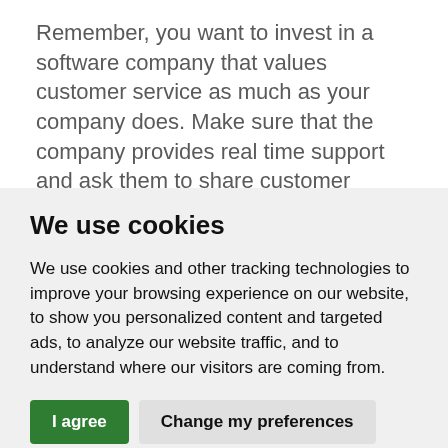Remember, you want to invest in a software company that values customer service as much as your company does. Make sure that the company provides real time support and ask them to share customer success stories with you about their software. Although finding the right shift planning
We use cookies
We use cookies and other tracking technologies to improve your browsing experience on our website, to show you personalized content and targeted ads, to analyze our website traffic, and to understand where our visitors are coming from.